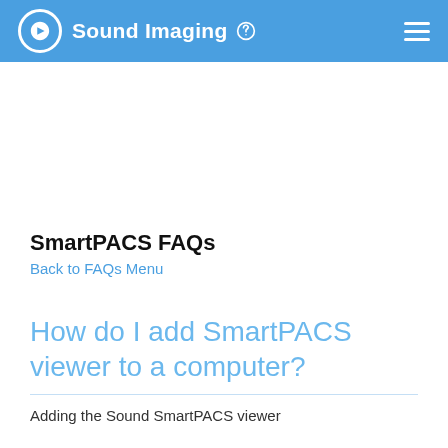Sound Imaging
SmartPACS FAQs
Back to FAQs Menu
How do I add SmartPACS viewer to a computer?
Adding the Sound SmartPACS viewer